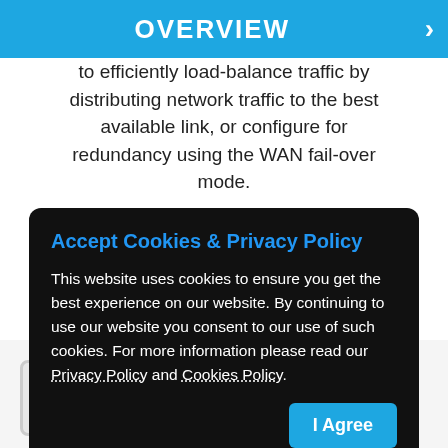OVERVIEW
to efficiently load-balance traffic by distributing network traffic to the best available link, or configure for redundancy using the WAN fail-over mode.
Accept Cookies & Privacy Policy
This website uses cookies to ensure you get the best experience on our website. By continuing to use our website you consent to our use of such cookies. For more information please read our Privacy Policy and Cookies Policy.